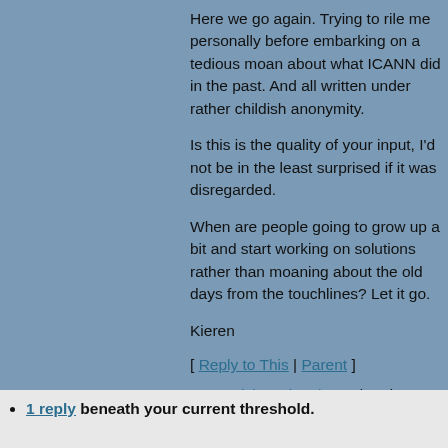Here we go again. Trying to rile me personally before embarking on a tedious moan about what ICANN did in the past. And all written under rather childish anonymity.
Is this is the quality of your input, I'd not be in the least surprised if it was disregarded.
When are people going to grow up a bit and start working on solutions rather than moaning about the old days from the touchlines? Let it go.
Kieren
[ Reply to This | Parent ]
Re:Pick up the phone! by Kieren McCarthy Wednesday May 16 2007, @01:05AM
1 reply beneath your current threshold.
1 reply beneath your current threshold.
1 reply beneath your current threshold.